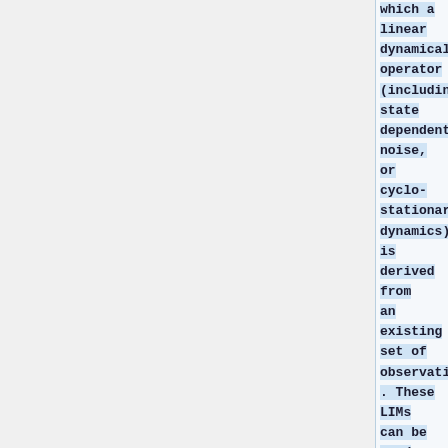which a linear dynamical operator (including state dependent noise, or cyclo-stationary dynamics) is derived from an existing set of observations. These LIMs can be used to (1) diagnose physical processes that cause